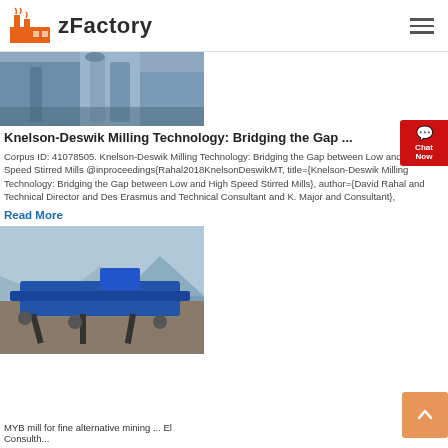[Figure (logo): zFactory logo with orange factory icon and bold text 'zFactory']
[Figure (photo): Industrial milling equipment photo, blue/grey tones, pipes and machinery visible]
Knelson-Deswik Milling Technology: Bridging the Gap ...
Corpus ID: 41078505. Knelson-Deswik Milling Technology: Bridging the Gap between Low and High Speed Stirred Mills @inproceedings{Rahal2018KnelsonDeswikMT, title={Knelson-Deswik Milling Technology: Bridging the Gap between Low and High Speed Stirred Mills}, author={David Rahal and Technical Director and Des Erasmus and Technical Consultant and K. Major and Consultant},
Read More
[Figure (photo): Industrial conveyor belt and mining equipment, blue machinery against rocky hillside background]
MYB mill for fine alternative mining ... El Consulth...